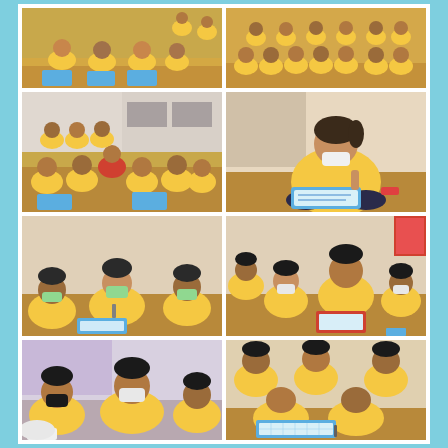[Figure (photo): Children in yellow uniforms sitting on the floor with blue whiteboards/learning materials]
[Figure (photo): Children in yellow uniforms sitting on the floor in a classroom]
[Figure (photo): Large group of children in yellow uniforms sitting on the floor working on activities]
[Figure (photo): Student in yellow uniform sitting cross-legged writing on a blue whiteboard]
[Figure (photo): Students in yellow uniforms sitting on floor with teacher, some wearing masks]
[Figure (photo): Students in yellow uniforms sitting on floor working together on whiteboard activity]
[Figure (photo): Students wearing masks in yellow uniforms sitting together indoors]
[Figure (photo): Students in yellow uniforms working together on a whiteboard activity on the floor]